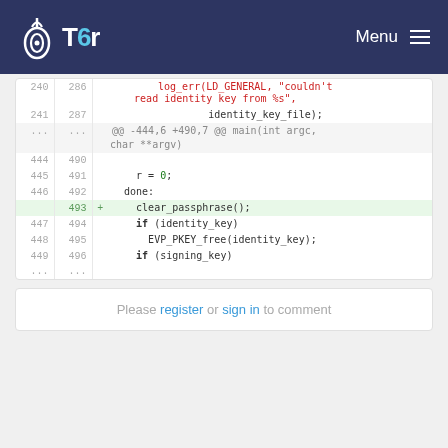Tor Menu
[Figure (screenshot): Code diff view showing lines 240-449 with a highlighted added line 493 containing clear_passphrase();]
Please register or sign in to comment